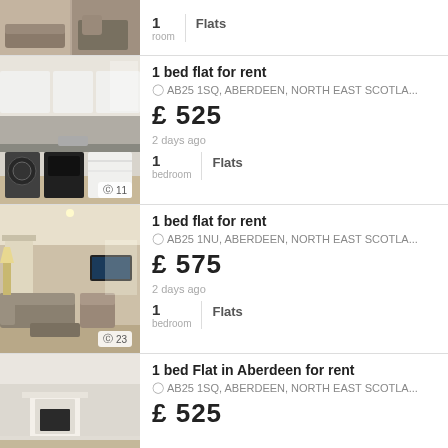[Figure (photo): Partial top listing showing a room interior photo, with 1 room label and Flats category]
1   Flats
room
[Figure (photo): Kitchen photo showing modern white kitchen with appliances, 11 photos]
1 bed flat for rent
AB25 1SQ, ABERDEEN, NORTH EAST SCOTLA...
£ 525
2 days ago
1 bedroom   Flats
[Figure (photo): Living room photo showing lounge area with sofa and TV, 23 photos]
1 bed flat for rent
AB25 1NU, ABERDEEN, NORTH EAST SCOTLA...
£ 575
2 days ago
1 bedroom   Flats
[Figure (photo): Partial bottom listing showing a flat interior photo]
1 bed Flat in Aberdeen for rent
AB25 1SQ, ABERDEEN, NORTH EAST SCOTLA...
£ 525